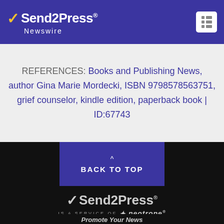Send2Press Newswire
REFERENCES: Books and Publishing News, author Gina Marie Mordecki, ISBN 9798578563751, grief counselor, kindle edition, paperback book | ID:67743
BACK TO TOP
[Figure (logo): Send2Press is a service of Neotrope logo in footer]
Promote Your News